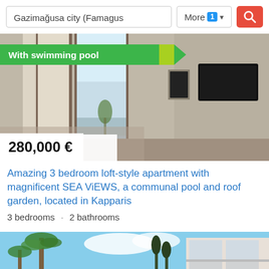Gazimağusa city (Famagus   More 1 ▾ [search button]
[Figure (photo): Interior photo of a modern loft-style apartment with large windows, curtains, sea view, wall-mounted TV, and a palm tree visible outside. Price label reads 280,000 €. Badge reads 'With swimming pool'.]
Amazing 3 bedroom loft-style apartment with magnificent SEA ViEWS, a communal pool and roof garden, located in Kapparis
3 bedrooms · 2 bathrooms
[Figure (photo): Exterior photo of a modern residential building with palm trees and blue sky in the background (partially visible at bottom of page).]